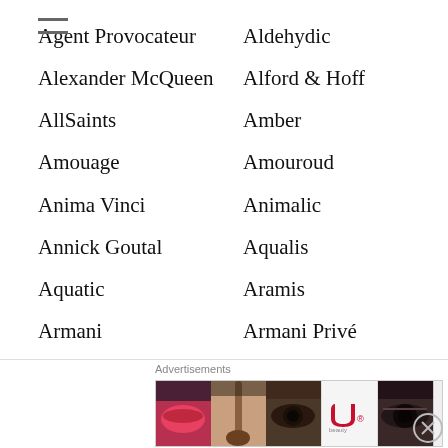Agent Provocateur
Aldehydic
Alexander McQueen
Alford & Hoff
AllSaints
Amber
Amouage
Amouroud
Anima Vinci
Animalic
Annick Goutal
Aqualis
Aquatic
Aramis
Armani
Armani Privé
Aromatic
Arquiste
Article
Atelier Cologne
[Figure (infographic): Advertisement banner for ULTA beauty with makeup photos and SHOP NOW button]